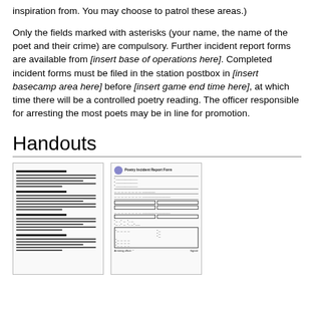inspiration from. You may choose to patrol these areas.)
Only the fields marked with asterisks (your name, the name of the poet and their crime) are compulsory. Further incident report forms are available from [insert base of operations here]. Completed incident forms must be filed in the station postbox in [insert basecamp area here] before [insert game end time here], at which time there will be a controlled poetry reading. The officer responsible for arresting the most poets may be in line for promotion.
Handouts
[Figure (illustration): Thumbnail image of a text document handout with multiple sections of body text]
[Figure (illustration): Thumbnail image of a Poetry Incident Report Form with crest logo, form fields, checkboxes, and tables]